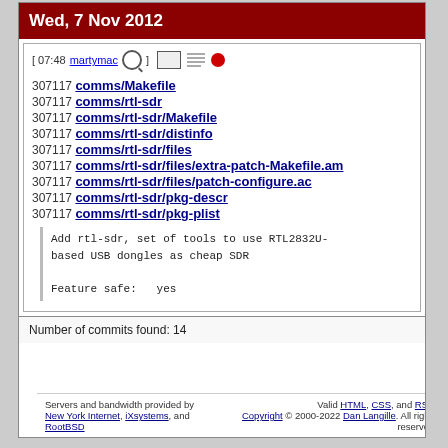Wed, 7 Nov 2012
[ 07:48 martymac ] [icons]
307117 comms/Makefile
307117 comms/rtl-sdr
307117 comms/rtl-sdr/Makefile
307117 comms/rtl-sdr/distinfo
307117 comms/rtl-sdr/files
307117 comms/rtl-sdr/files/extra-patch-Makefile.am
307117 comms/rtl-sdr/files/patch-configure.ac
307117 comms/rtl-sdr/pkg-descr
307117 comms/rtl-sdr/pkg-plist
Add rtl-sdr, set of tools to use RTL2832U-based USB dongles as cheap SDR

Feature safe:   yes
Number of commits found: 14
Servers and bandwidth provided by New York Internet, iXsystems, and RootBSD | Valid HTML, CSS, and RSS. Copyright © 2000-2022 Dan Langille. All rights reserved.